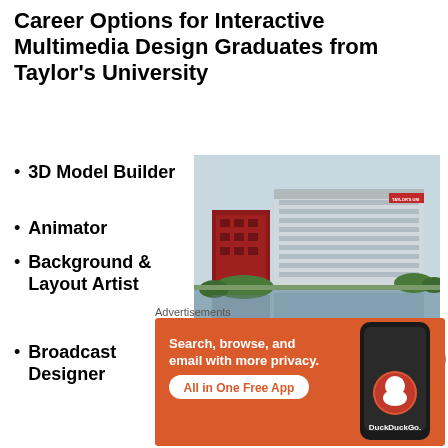Career Options for Interactive Multimedia Design Graduates from Taylor's University
3D Model Builder
Animator
Background & Layout Artist
Broadcast Designer
[Figure (photo): Taylor's University campus building viewed from across a lake, modern multi-story architecture with red accents and the Taylor's Uni logo visible]
Taylor's University is a top ranked private university in Malaysia
Advertisements
[Figure (infographic): DuckDuckGo advertisement banner in orange: 'Search, browse, and email with more privacy. All in One Free App' with DuckDuckGo logo and phone image]